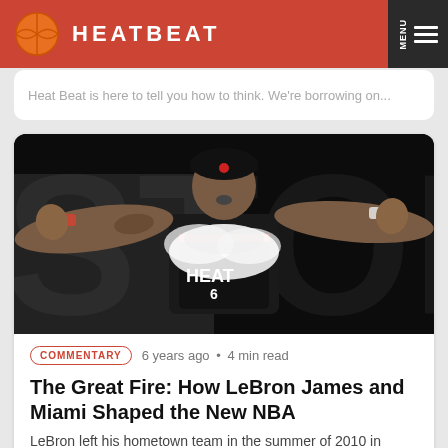HEATBEAT
Heat Beat is here to tell you how to think. We're borrowing on...
[Figure (photo): LeBron James in Miami Heat jersey #6, arms outstretched tossing chalk powder, dramatic action shot against dark background]
COMMENTARY  6 years ago • 4 min read
The Great Fire: How LeBron James and Miami Shaped the New NBA
LeBron left his hometown team in the summer of 2010 in pursuit of championships by any means necessary. He formed a super team...